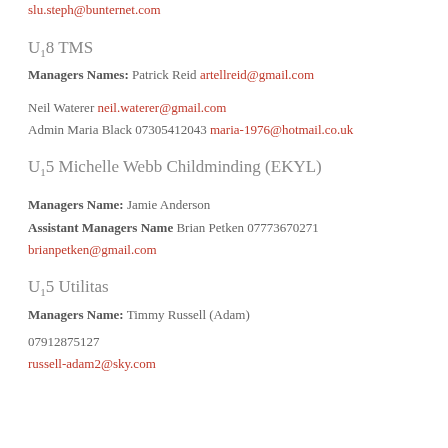slu.steph@bunternet.com
U18 TMS
Managers Names: Patrick Reid artellreid@gmail.com
Neil Waterer neil.waterer@gmail.com
Admin Maria Black 07305412043 maria-1976@hotmail.co.uk
U15 Michelle Webb Childminding (EKYL)
Managers Name: Jamie Anderson
Assistant Managers Name Brian Petken 07773670271
brianpetken@gmail.com
U15 Utilitas
Managers Name: Timmy Russell (Adam)
07912875127
russell-adam2@sky.com